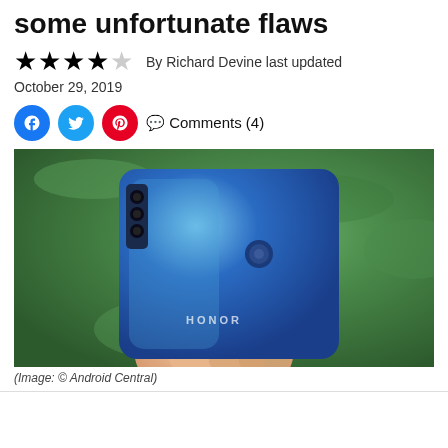affordable phone with some unfortunate flaws
★★★½ ☆ By Richard Devine last updated
October 29, 2019
Comments (4)
[Figure (photo): Hand holding a blue Honor smartphone, back view showing triple camera and fingerprint sensor, green grass background]
(Image: © Android Central)